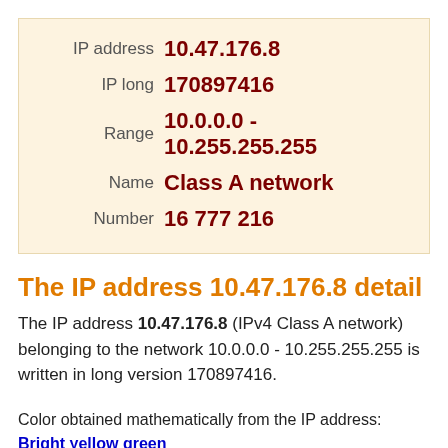| IP address | 10.47.176.8 |
| IP long | 170897416 |
| Range | 10.0.0.0 - 10.255.255.255 |
| Name | Class A network |
| Number | 16 777 216 |
The IP address 10.47.176.8 detail
The IP address 10.47.176.8 (IPv4 Class A network) belonging to the network 10.0.0.0 - 10.255.255.255 is written in long version 170897416.
Color obtained mathematically from the IP address: Bright yellow green